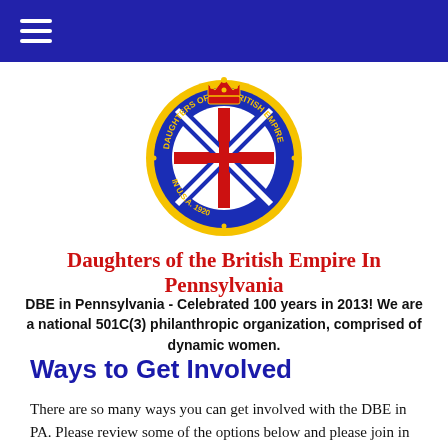[Figure (logo): Circular badge/crest of Daughters of the British Empire featuring a Union Jack in the center, crown on top, gold border with text 'DAUGHTERS OF THE BRITISH EMPIRE IN U.S.A. 1920']
Daughters of the British Empire In Pennsylvania
DBE in Pennsylvania - Celebrated 100 years in 2013! We are a national 501C(3) philanthropic organization, comprised of dynamic women.
Ways to Get Involved
There are so many ways you can get involved with the DBE in PA. Please review some of the options below and please join in our mission to help others and